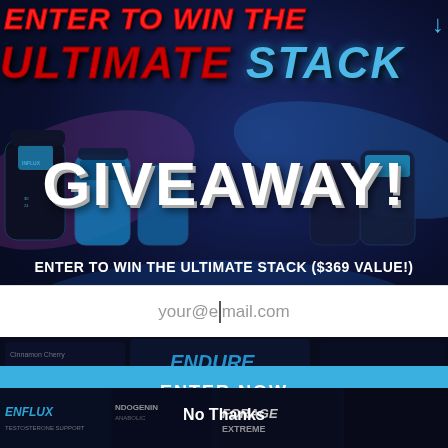ENTER TO WIN THE ULTIMATE STACK
GIVEAWAY!
ENTER TO WIN THE ULTIMATE STACK ($369 Value!)
your@email.com
ENTER NOW
No Thanks